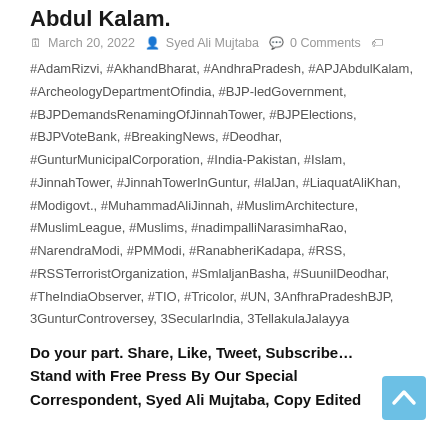Abdul Kalam.
March 20, 2022   Syed Ali Mujtaba   0 Comments
#AdamRizvi, #AkhandBharat, #AndhraPradesh, #APJAbdulKalam, #ArcheologyDepartmentOfindia, #BJP-ledGovernment, #BJPDemandsRenamingOfJinnahTower, #BJPElections, #BJPVoteBank, #BreakingNews, #Deodhar, #GunturMunicipalCorporation, #India-Pakistan, #Islam, #JinnahTower, #JinnahTowerInGuntur, #lalJan, #LiaquatAliKhan, #Modigovt., #MuhammadAliJinnah, #MuslimArchitecture, #MuslimLeague, #Muslims, #nadimpalliNarasimhaRao, #NarendraModi, #PMModi, #RanabheriKadapa, #RSS, #RSSTerroristOrganization, #SmlaljanBasha, #SuunilDeodhar, #TheIndiaObserver, #TIO, #Tricolor, #UN, 3AnfhraPradeshBJP, 3GunturControversey, 3SecularIndia, 3TellakulaJalayya
Do your part. Share, Like, Tweet, Subscribe... Stand with Free Press By Our Special Correspondent, Syed Ali Mujtaba, Copy Edited